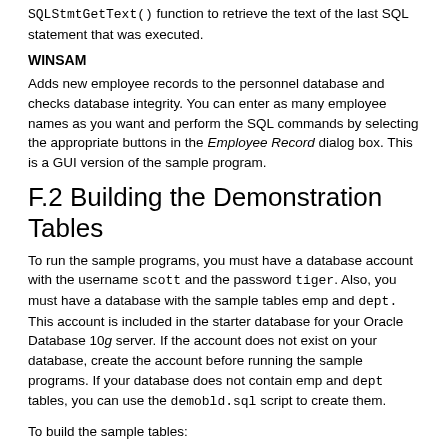SQLStmtGetText() function to retrieve the text of the last SQL statement that was executed.
WINSAM
Adds new employee records to the personnel database and checks database integrity. You can enter as many employee names as you want and perform the SQL commands by selecting the appropriate buttons in the Employee Record dialog box. This is a GUI version of the sample program.
F.2 Building the Demonstration Tables
To run the sample programs, you must have a database account with the username scott and the password tiger. Also, you must have a database with the sample tables emp and dept. This account is included in the starter database for your Oracle Database 10g server. If the account does not exist on your database, create the account before running the sample programs. If your database does not contain emp and dept tables, you can use the demobld.sql script to create them.
To build the sample tables: